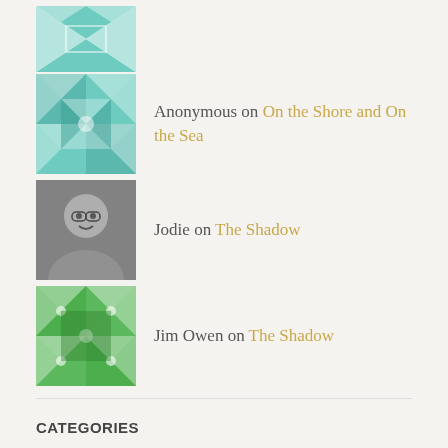Anonymous on On the Shore and On the Sea
Jodie on The Shadow
Jim Owen on The Shadow
CATEGORIES
Select Category
Search ...